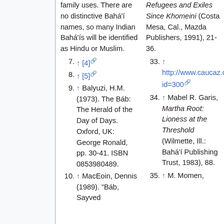(continuation) family uses. There are no distinctive Bahá'í names, so many Indian Bahá'ís will be identified as Hindu or Muslim.
7. ↑ [4] [external link]
8. ↑ [5] [external link]
9. ↑ Balyuzi, H.M. (1973). The Báb: The Herald of the Day of Days. Oxford, UK: George Ronald, pp. 30-41. ISBN 0853980489.
10. ↑ MacEoin, Dennis (1989). "Báb, Sayyed...
33. ↑ http://www.caucaz.com/home_eng/breve_contenu.php?id=300 [external link]
34. ↑ Mabel R. Garis, Martha Root: Lioness at the Threshold (Wilmette, Ill.: Bahá'í Publishing Trust, 1983), 88.
35. ↑ M. Momen,